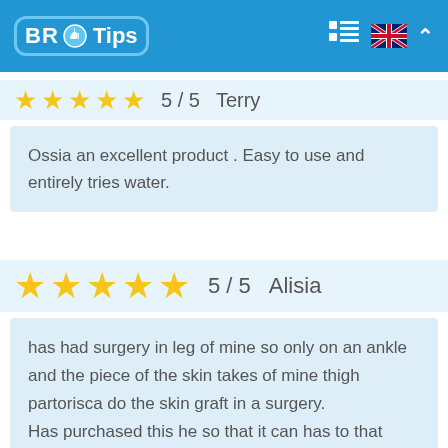BR Tips
5 / 5   Terry
Ossia an excellent product . Easy to use and entirely tries water.
5 / 5   Alisia
has had surgery in leg of mine so only on an ankle and the piece of the skin takes of mine thigh partorisca do the skin graft in a surgery. Has purchased this he so that it can has to that shower without wetting some dressings. Sadly does not cover an upper one in mine thigh